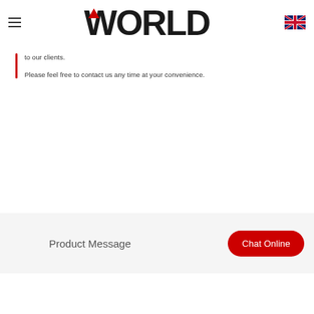WORLD (logo with hamburger menu and UK flag)
to our clients.
Please feel free to contact us any time at your convenience.
Product Message
Chat Online